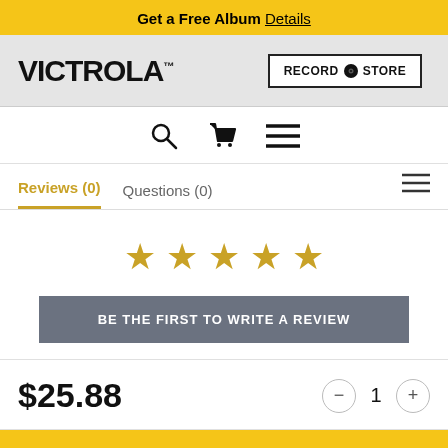Get a Free Album Details
[Figure (logo): Victrola brand logo on grey background, with Record Store button on the right]
[Figure (infographic): Navigation icons: search magnifier, shopping cart, and hamburger menu]
Reviews (0)   Questions (0)
[Figure (infographic): Five gold stars rating display]
BE THE FIRST TO WRITE A REVIEW
$25.88
1
Add to Cart